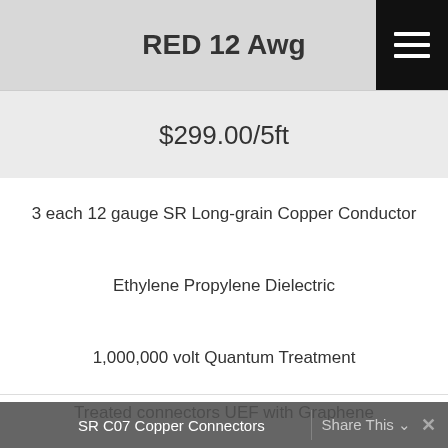RED 12 Awg
$299.00/5ft
3 each 12 gauge SR Long-grain Copper Conductor
Ethylene Propylene Dielectric
1,000,000 volt Quantum Treatment
Treated connectors UEF with Graphene
SR C07 Copper Connectors
Share This ∨  ✕